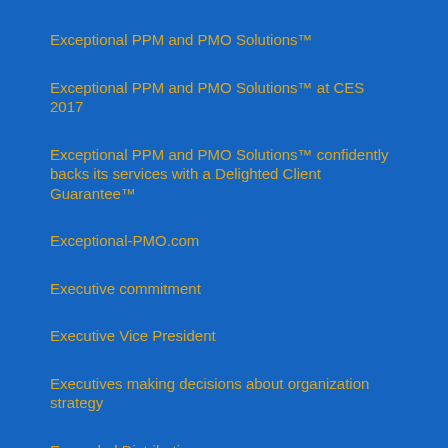Exceptional PPM and PMO Solutions™
Exceptional PPM and PMO Solutions™ at CES 2017
Exceptional PPM and PMO Solutions™ confidently backs its services with a Delighted Client Guarantee™
Exceptional-PMO.com
Executive commitment
Executive Vice President
Executives making decisions about organization strategy
Expanded Distribution
Facebook